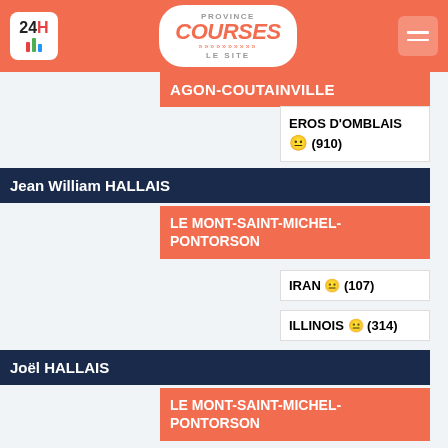[Figure (screenshot): Province Courses Le Site header logo with 24h icon and hamburger menu]
AGON-COUTAINVILLE
EROS D'OMBLAIS 😐 (910)
Jean William HALLAIS
LE MONT-SAINT-MICHEL-PONTORSON
IRAN 😐 (107)
ILLINOIS 😐 (314)
Joël HALLAIS
LE MONT-SAINT-MICHEL-PONTORSON
FAR WEST DU RIB 😐 (709)
HAKA DU RIB 😐 (502)